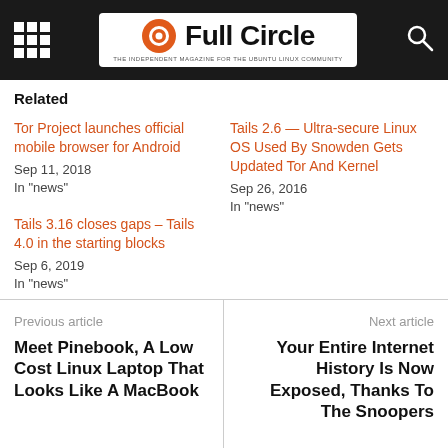Full Circle — THE INDEPENDENT MAGAZINE FOR THE UBUNTU LINUX COMMUNITY
Related
Tor Project launches official mobile browser for Android
Sep 11, 2018
In "news"
Tails 2.6 — Ultra-secure Linux OS Used By Snowden Gets Updated Tor And Kernel
Sep 26, 2016
In "news"
Tails 3.16 closes gaps – Tails 4.0 in the starting blocks
Sep 6, 2019
In "news"
Previous article
Meet Pinebook, A Low Cost Linux Laptop That Looks Like A MacBook
Next article
Your Entire Internet History Is Now Exposed, Thanks To The Snoopers